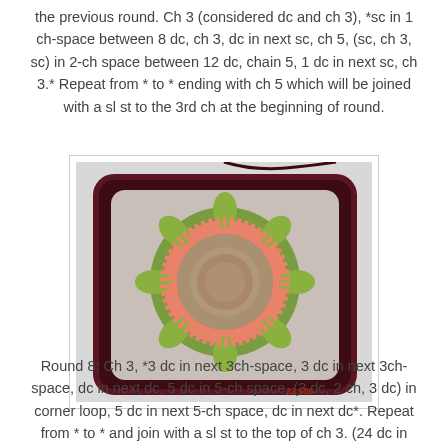the previous round. Ch 3 (considered dc and ch 3), *sc in 1 ch-space between 8 dc, ch 3, dc in next sc, ch 5, (sc, ch 3, sc) in 2-ch space between 12 dc, chain 5, 1 dc in next sc, ch 3.* Repeat from * to * ending with ch 5 which will be joined with a sl st to the 3rd ch at the beginning of round.
[Figure (photo): A crocheted granny square with a dark maroon/burgundy border, green leaf-like petals in the middle ring, a pink/coral round of stitches, and a tan/beige center circle. The square is photographed on a light gray background.]
Round 8: Ch 3, *3 dc in next 3ch-space, 3 dc in next 3ch-space, dc in next dc, 5 dc in 5-ch space, (3 dc, 2 ch, 3 dc) in corner loop, 5 dc in next 5-ch space, dc in next dc*. Repeat from * to * and join with a sl st to the top of ch 3. (24 dc in